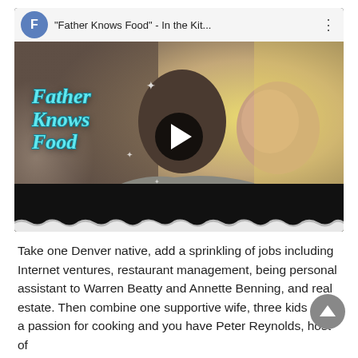[Figure (screenshot): YouTube-style video embed showing 'Father Knows Food - In the Kit...' with a thumbnail of a man holding a baby, Father Knows Food title text on thumbnail, and a play button overlay. The video player has a top bar with a blue channel icon 'F', the video title, and a three-dots menu.]
Take one Denver native, add a sprinkling of jobs including Internet ventures, restaurant management, being personal assistant to Warren Beatty and Annette Benning, and real estate. Then combine one supportive wife, three kids and a passion for cooking and you have Peter Reynolds, host of Father Knows Food...